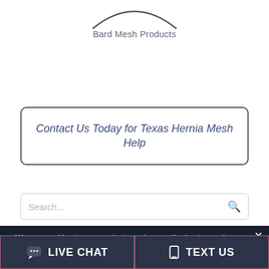[Figure (illustration): Bottom arc of a circular logo or image, partially visible at the top of the page]
Bard Mesh Products
Contact Us Today for Texas Hernia Mesh Help
Search...
We use cookies to ensure that we give you the best experience on our website. If you continue to use this site we will assume that you are happy with it.
LIVE CHAT
TEXT US